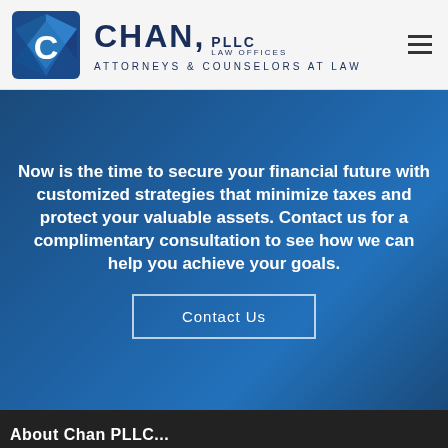[Figure (logo): Chan PLLC Law Offices logo with blue diamond C icon and text 'CHAN, PLLC LAW OFFICES — ATTORNEYS & COUNSELORS AT LAW']
Now is the time to secure your financial future with customized strategies that minimize taxes and protect your valuable assets. Contact us for a complimentary consultation to see how we can help you achieve your goals.
Contact Us
About Chan PLLC...